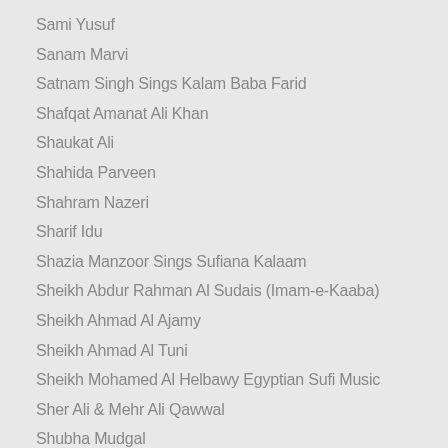Sami Yusuf
Sanam Marvi
Satnam Singh Sings Kalam Baba Farid
Shafqat Amanat Ali Khan
Shaukat Ali
Shahida Parveen
Shahram Nazeri
Sharif Idu
Shazia Manzoor Sings Sufiana Kalaam
Sheikh Abdur Rahman Al Sudais (Imam-e-Kaaba)
Sheikh Ahmad Al Ajamy
Sheikh Ahmad Al Tuni
Sheikh Mohamed Al Helbawy Egyptian Sufi Music
Sher Ali & Mehr Ali Qawwal
Shubha Mudgal
Shyama Perara (Rumi Recitations)
Sufi Inspired Music from India
Sufi Music Ensembles from Turkey & Egypt
Sindhi Rajasthani Sufi Music